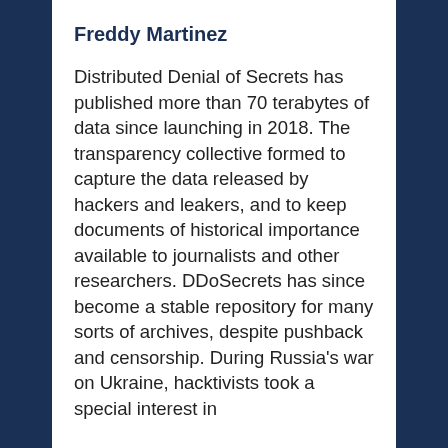Freddy Martinez
Distributed Denial of Secrets has published more than 70 terabytes of data since launching in 2018. The transparency collective formed to capture the data released by hackers and leakers, and to keep documents of historical importance available to journalists and other researchers. DDoSecrets has since become a stable repository for many sorts of archives, despite pushback and censorship. During Russia’s war on Ukraine, hacktivists took a special interest in